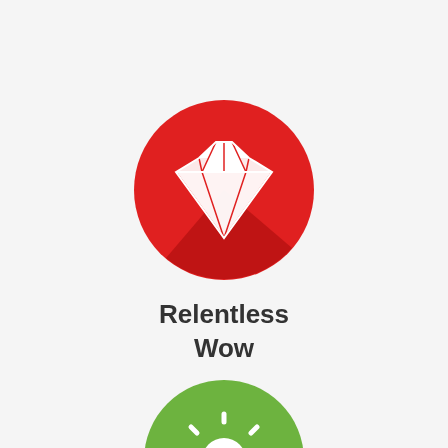[Figure (logo): Red circle icon with a white diamond/gem shape in the center, with a dark red shadow effect on the lower right portion of the circle]
Relentless Wow
[Figure (logo): Green circle icon with a white sun/lightbulb shape in the center, partially visible at bottom of page]